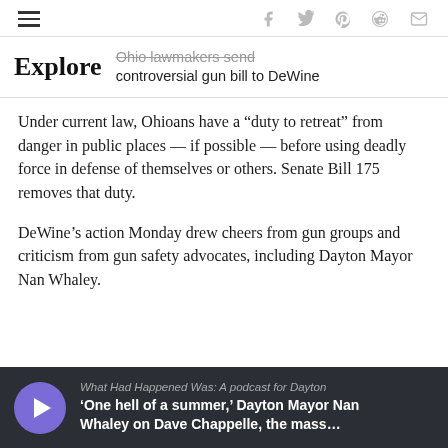Navigation bar with hamburger menu, Facebook, Twitter, Pinterest, Reddit, Email icons
Explore — Ohio lawmakers send controversial gun bill to DeWine
Under current law, Ohioans have a “duty to retreat” from danger in public places — if possible — before using deadly force in defense of themselves or others. Senate Bill 175 removes that duty.
DeWine’s action Monday drew cheers from gun groups and criticism from gun safety advocates, including Dayton Mayor Nan Whaley.
[Figure (other): Podcast card with purple play button, label 'What Had Happened Was: A podcast for Dayton', title "'One hell of a summer,' Dayton Mayor Nan Whaley on Dave Chappelle, the mass..."]